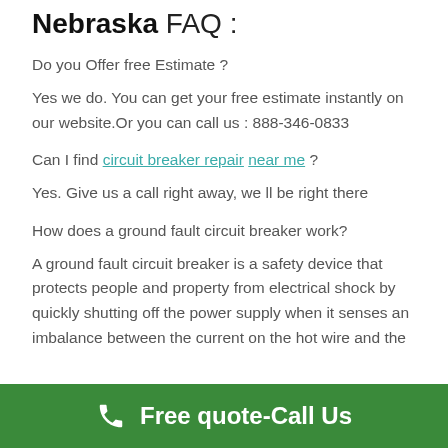Nebraska FAQ :
Do you Offer free Estimate ?
Yes we do. You can get your free estimate instantly on our website.Or you can call us : 888-346-0833
Can I find circuit breaker repair near me ?
Yes. Give us a call right away, we ll be right there
How does a ground fault circuit breaker work?
A ground fault circuit breaker is a safety device that protects people and property from electrical shock by quickly shutting off the power supply when it senses an imbalance between the current on the hot wire and the
Free quote-Call Us